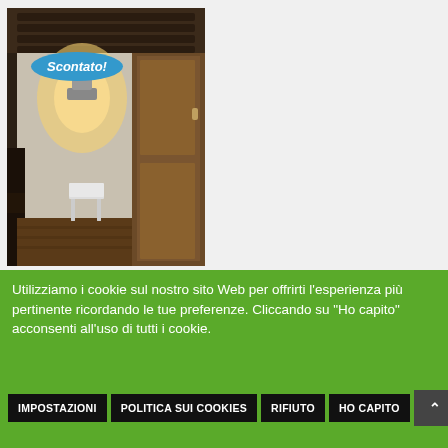[Figure (photo): Interior room photo showing a dimly lit room with wooden beamed ceiling, a wall sconce light, a white chair, wooden wardrobe/door, and furniture. A blue oval badge with 'Scontato!' text overlays the top-left of the photo.]
Utilizziamo i cookie sul nostro sito Web per offrirti l'esperienza più pertinente ricordando le tue preferenze. Cliccando su "Ho capito" acconsenti all'uso di tutti i cookie.
IMPOSTAZIONI
POLITICA SUI COOKIES
RIFIUTO
HO CAPITO